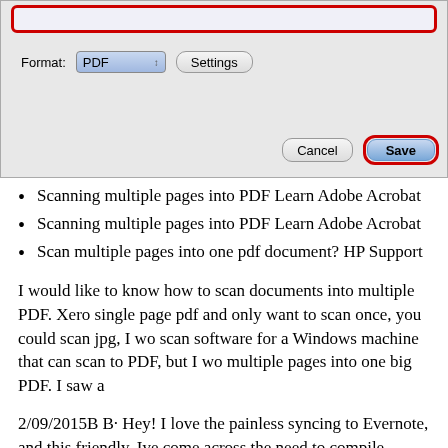[Figure (screenshot): macOS save dialog screenshot showing Format: PDF dropdown, Settings button, Cancel button, and Save button (highlighted with red border). Top bar also has red border highlight.]
Scanning multiple pages into PDF Learn Adobe Acrobat
Scanning multiple pages into PDF Learn Adobe Acrobat
Scan multiple pages into one pdf document? HP Support
I would like to know how to scan documents into multiple PDF. Xero single page pdf and only want to scan once, you could scan jpg, I wo scan software for a Windows machine that can scan to PDF, but I wo multiple pages into one big PDF. I saw a
2/09/2015B B· Hey! I love the painless syncing to Evernote, and this friendly. Ive come across the need to compile multiple individual sca bought a Epson XP-420 printer. The copying and But if I want to sca page document there Combine Documents into single PDF